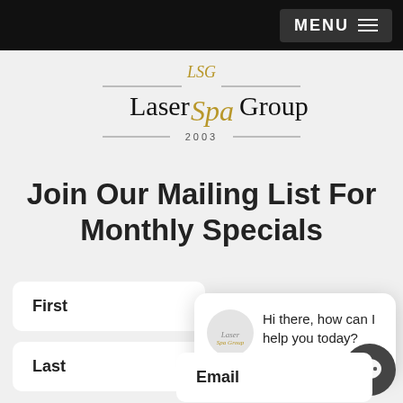MENU
[Figure (logo): Laser Spa Group logo with decorative monogram, horizontal lines, and year 2003]
Join Our Mailing List For Monthly Specials
First
Last
[Figure (screenshot): Chat popup with Laser Spa Group logo and text: Hi there, how can I help you today?]
Email